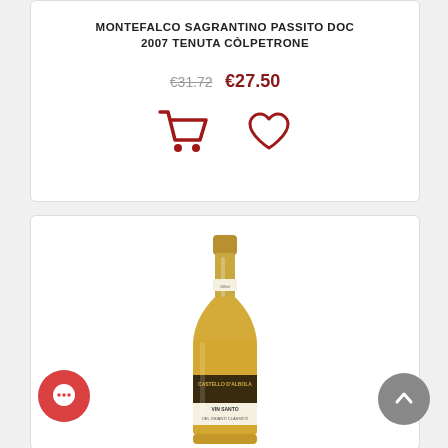MONTEFALCO SAGRANTINO PASSITO DOC 2007 TENUTA CÒLPETRONE
€31.72  €27.50
[Figure (screenshot): Shopping cart icon and heart/wishlist icon in dark red]
[Figure (photo): Wine bottle - Castello d'Albola Vin Santo del Chianti Classico]
[Figure (illustration): Red circular chat bubble icon at bottom left]
[Figure (illustration): Grey circular back-to-top arrow button at bottom right]